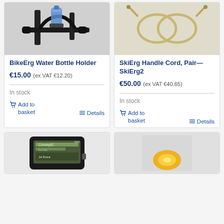[Figure (photo): BikeErg handlebar with water bottle holder and blue water bottle]
BikeErg Water Bottle Holder
€15.00 (ex VAT €12.20)
In stock
Add to basket
Details
[Figure (photo): SkiErg handle cord pair with loops and plug connectors on light background]
SkiErg Handle Cord, Pair—SkiErg2
€50.00 (ex VAT €40.65)
In stock
Add to basket
Details
[Figure (photo): Concept2 PM5 performance monitor device, partially visible]
[Figure (photo): Partially visible product with yellow/gold circular element on grey background]